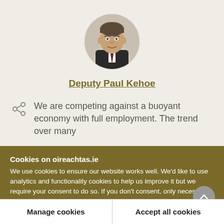[Figure (photo): Circular portrait photo of Deputy Paul Kehoe, a man in a dark suit and tie, smiling slightly.]
Deputy Paul Kehoe
We are competing against a buoyant economy with full employment. The trend over many
Cookies on oireachtas.ie
We use cookies to ensure our website works well. We'd like to use analytics and functionality cookies to help us improve it but we require your consent to do so. If you don't consent, only necessary cookies will be used. Read more about our cookies
Manage cookies
Accept all cookies